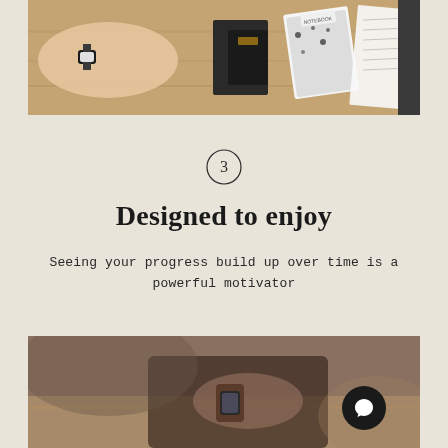[Figure (photo): A hand with a watch reaching across a wooden desk covered with notebooks, papers, and stationery items.]
3
Designed to enjoy
Seeing your progress build up over time is a powerful motivator
[Figure (photo): Close-up of a person's wrist with a smartwatch resting on a chair or surface, blurred background.]